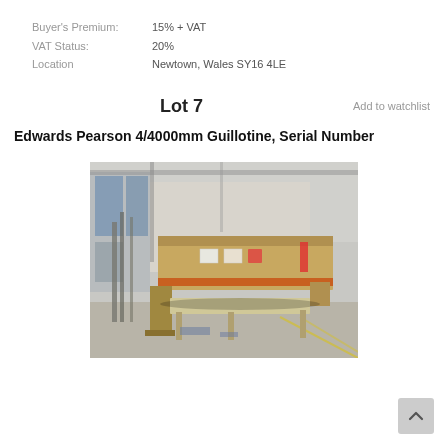Buyer's Premium: 15% + VAT
VAT Status: 20%
Location: Newtown, Wales SY16 4LE
Lot 7
Add to watchlist
Edwards Pearson 4/4000mm Guillotine, Serial Number
[Figure (photo): Photograph of an Edwards Pearson 4/4000mm guillotine machine in an industrial warehouse setting. The machine is a large metal sheet cutting guillotine with an orange/tan body, shown on a concrete floor with metal supports visible.]